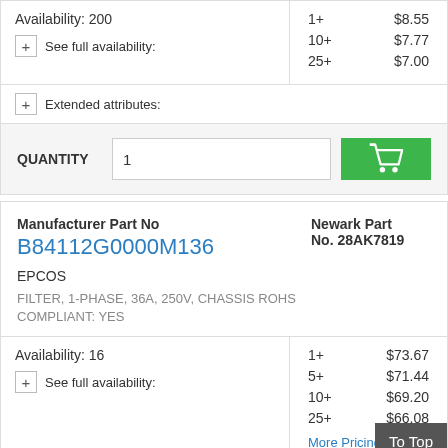Availability: 200
See full availability:
| Qty | Price |
| --- | --- |
| 1+ | $8.55 |
| 10+ | $7.77 |
| 25+ | $7.00 |
Extended attributes:
QUANTITY  1
Manufacturer Part No
B84112G0000M136
Newark Part No. 28AK7819
EPCOS
FILTER, 1-PHASE, 36A, 250V, CHASSIS ROHS COMPLIANT: YES
Availability: 16
See full availability:
| Qty | Price |
| --- | --- |
| 1+ | $73.67 |
| 5+ | $71.44 |
| 10+ | $69.20 |
| 25+ | $66.08 |
More Pricing...
To Top